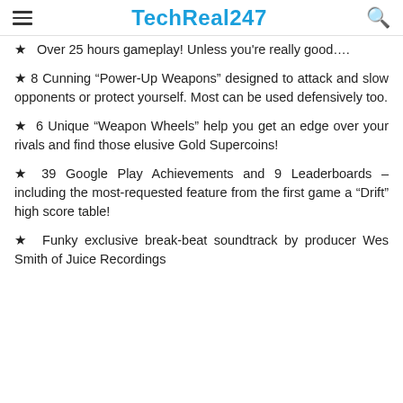TechReal247
★  Over 25 hours gameplay! Unless you're really good….
★ 8 Cunning “Power-Up Weapons” designed to attack and slow opponents or protect yourself. Most can be used defensively too.
★  6 Unique “Weapon Wheels” help you get an edge over your rivals and find those elusive Gold Supercoins!
★ 39 Google Play Achievements and 9 Leaderboards – including the most-requested feature from the first game a “Drift” high score table!
★  Funky exclusive break-beat soundtrack by producer Wes Smith of Juice Recordings